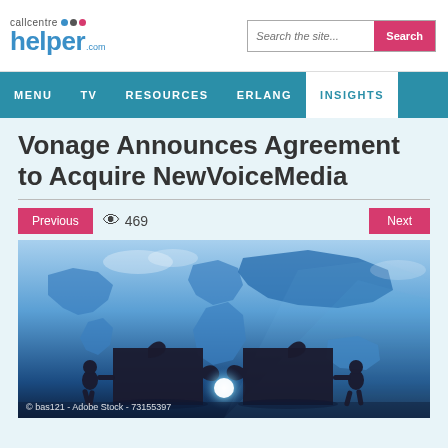callcentre helper.com
MENU  TV  RESOURCES  ERLANG  INSIGHTS
Vonage Announces Agreement to Acquire NewVoiceMedia
Previous   469   Next
[Figure (photo): Two silhouetted figures pushing large puzzle pieces together with a glowing light at the join point, set against a blue world map background. © bas121 - Adobe Stock - 73155397]